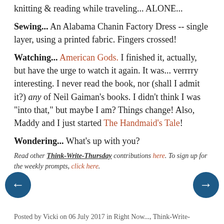knitting & reading while traveling... ALONE...
Sewing... An Alabama Chanin Factory Dress -- single layer, using a printed fabric. Fingers crossed!
Watching... American Gods. I finished it, actually, but have the urge to watch it again. It was... verrrry interesting. I never read the book, nor (shall I admit it?) any of Neil Gaiman's books. I didn't think I was "into that," but maybe I am? Things change! Also, Maddy and I just started The Handmaid's Tale!
Wondering... What's up with you?
Read other Think-Write-Thursday contributions here. To sign up for the weekly prompts, click here.
Posted by Vicki on 06 July 2017 in Right Now..., Think-Write-